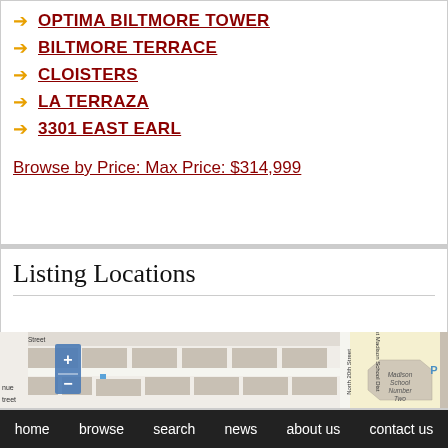OPTIMA BILTMORE TOWER
BILTMORE TERRACE
CLOISTERS
LA TERRAZA
3301 EAST EARL
Browse by Price: Max Price: $314,999
Listing Locations
[Figure (map): Street map showing North 20th Street, st Madison School Dist, Madison School Number Two building, and a parking area marked with P. Map includes zoom in/out controls (+/-).]
home   browse   search   news   about us   contact us